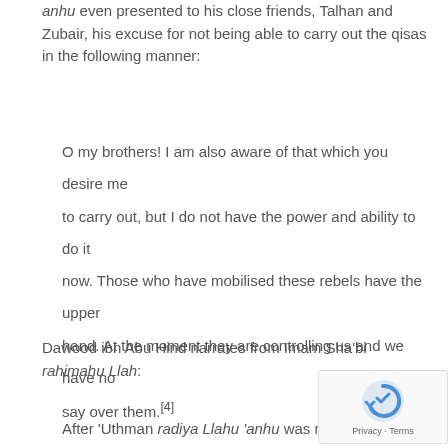anhu even presented to his close friends, Talhan and Zubair, his excuse for not being able to carry out the qisas in the following manner:
O my brothers! I am also aware of that which you desire me to carry out, but I do not have the power and ability to do it now. Those who have mobilised these rebels have the upper hand. At the moment they are controlling us and we have no say over them.[4]
Dawood ibn Abu Hind narrates from Imam Sha'bi rahimahu Llah:
After 'Uthman radiya Llahu 'anhu was martyred, they